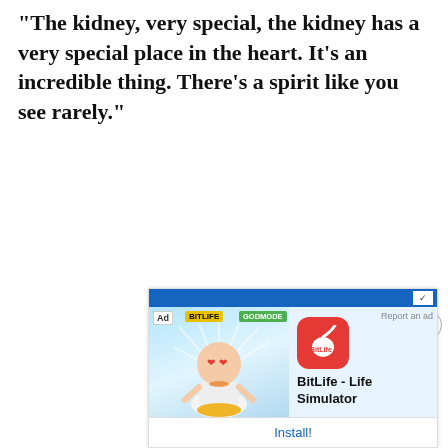"The kidney, very special, the kidney has a very special place in the heart. It's an incredible thing. There's a spirit like you see rarely."
[Figure (screenshot): Advertisement for BitLife - Life Simulator app. Shows a cartoon character with heart-eyes, a BitLife app icon in red, the text 'BitLife - Life Simulator', and an 'Install!' button. Ad label and 'Report an ad' link visible.]